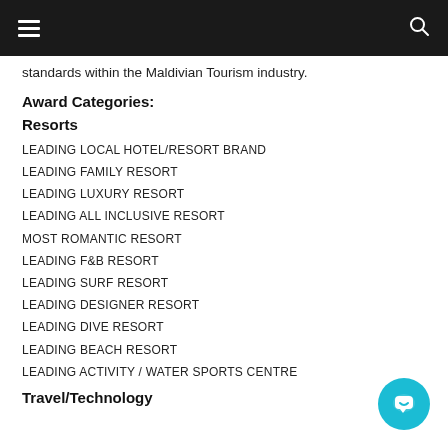navigation bar with hamburger menu and search icon
standards within the Maldivian Tourism industry.
Award Categories:
Resorts
LEADING LOCAL HOTEL/RESORT BRAND
LEADING FAMILY RESORT
LEADING LUXURY RESORT
LEADING ALL INCLUSIVE RESORT
MOST ROMANTIC RESORT
LEADING F&B RESORT
LEADING SURF RESORT
LEADING DESIGNER RESORT
LEADING DIVE RESORT
LEADING BEACH RESORT
LEADING ACTIVITY / WATER SPORTS CENTRE
Travel/Technology